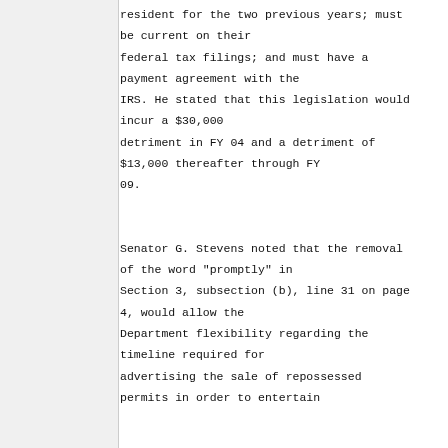state; must have been a resident for the two previous years; must be current on their federal tax filings; and must have a payment agreement with the IRS. He stated that this legislation would incur a $30,000 detriment in FY 04 and a detriment of $13,000 thereafter through FY 09.

Senator G. Stevens noted that the removal of the word "promptly" in Section 3, subsection (b), line 31 on page 4, would allow the Department flexibility regarding the timeline required for advertising the sale of repossessed permits in order to entertain